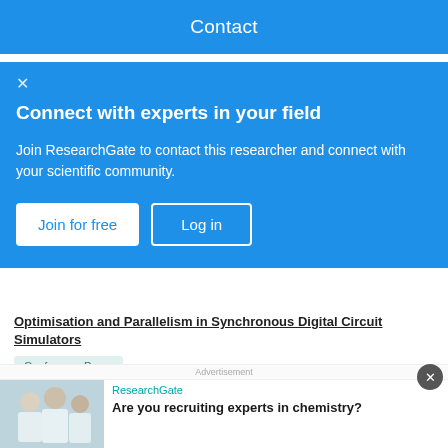Contact
Connect with experts in your field
Join ResearchGate to contact this researcher and connect with your scientific community.
Join for free   Log in
Optimisation and Parallelism in Synchronous Digital Circuit Simulators
Conference Paper
Dec 2012
Mozhgan Kabiri Chimeh . Cordelia V. Hall . John T. O'Donnell
Advertisement
ResearchGate
Are you recruiting experts in chemistry?